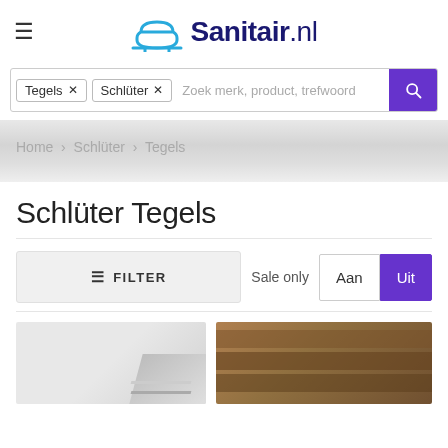Sanitair.nl
Tegels × Schlüter × Zoek merk, product, trefwoord
Home > Schlüter > Tegels
Schlüter Tegels
☰ FILTER   Sale only  Aan  Uit
[Figure (photo): Two product thumbnail images at the bottom of the page: left shows a tile/edge profile detail in light grey tones, right shows stacked stone or brick tiles in warm brown tones]